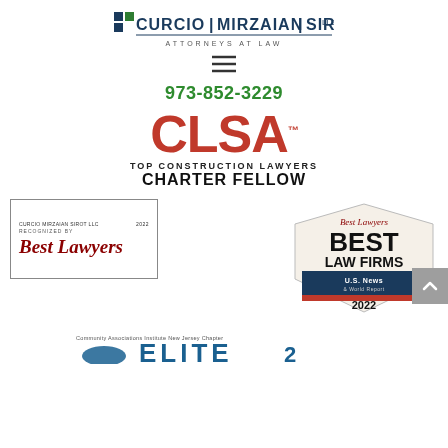[Figure (logo): Curcio Mirzaian Sirot LLC law firm logo with blue and green squares and firm name]
ATTORNEYS AT LAW
[Figure (other): Hamburger menu icon]
973-852-3229
[Figure (logo): CLSA Top Construction Lawyers Charter Fellow badge with large red CLSA text]
[Figure (logo): Best Lawyers recognized box - Curcio Mirzaian Sirot LLC 2022]
[Figure (logo): Best Lawyers Best Law Firms U.S. News & World Report 2022 pentagon badge]
[Figure (logo): Community Associations Institute New Jersey Chapter Elite badge (partially visible at bottom)]